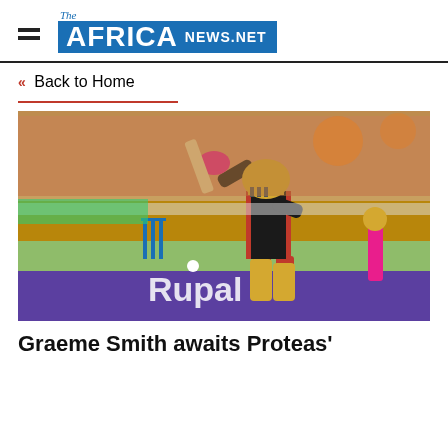The AFRICA NEWS.NET
« Back to Home
[Figure (photo): Cricket player in red RCB uniform batting during an IPL match, crowd visible in background, blue stumps on pitch, purple advertising board reading 'RUPAY' behind]
Graeme Smith awaits Proteas'